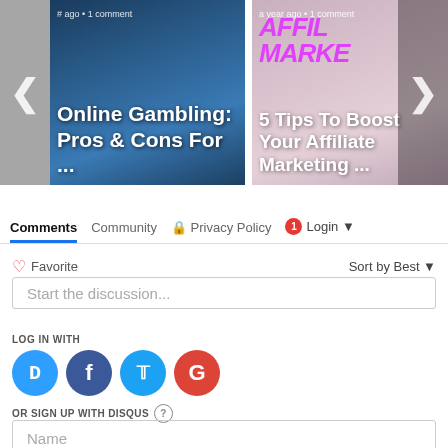[Figure (screenshot): Carousel with two article card thumbnails. Left card: 'Online Gambling: Pros & Cons For ...' with meta text '# ago • 1 comment'. Right card: 'AFFIL MARKE / 5 Tips To Boost Your Affiliate Marketing ...' with meta text 'a year ago • 1 comment'. Navigation arrows on left and right sides.]
Comments  Community  🔒 Privacy Policy  1  Login ▼
♡ Favorite  Sort by Best ▼
Start the discussion...
LOG IN WITH
[Figure (screenshot): Social login icons row: Disqus (blue D), Facebook (dark blue f), Twitter (light blue bird), Google (red G)]
OR SIGN UP WITH DISQUS ?
Name